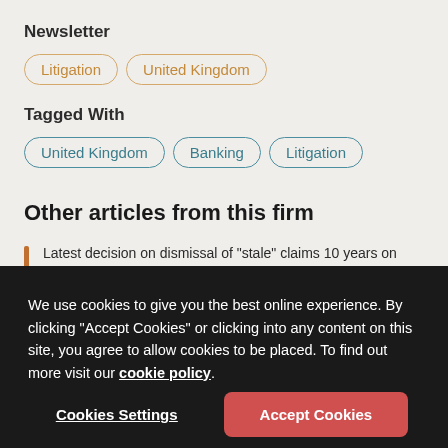Newsletter
Litigation
United Kingdom
Tagged With
United Kingdom
Banking
Litigation
Other articles from this firm
Latest decision on dismissal of "stale" claims 10 years on...
We use cookies to give you the best online experience. By clicking "Accept Cookies" or clicking into any content on this site, you agree to allow cookies to be placed. To find out more visit our cookie policy.